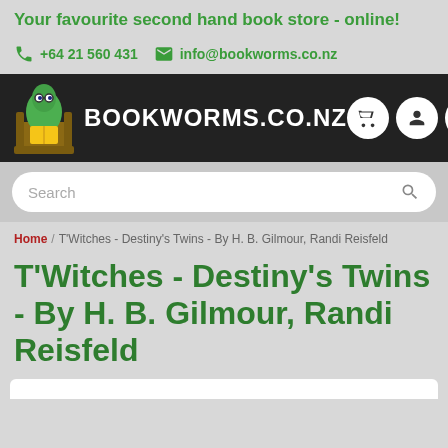Your favourite second hand book store - online!
+64 21 560 431   info@bookworms.co.nz
[Figure (logo): Bookworms.co.nz website header with green worm mascot logo and BOOKWORMS.CO.NZ text, plus cart, user, and menu icon buttons]
Search
Home / T'Witches - Destiny's Twins - By H. B. Gilmour, Randi Reisfeld
T'Witches - Destiny's Twins - By H. B. Gilmour, Randi Reisfeld